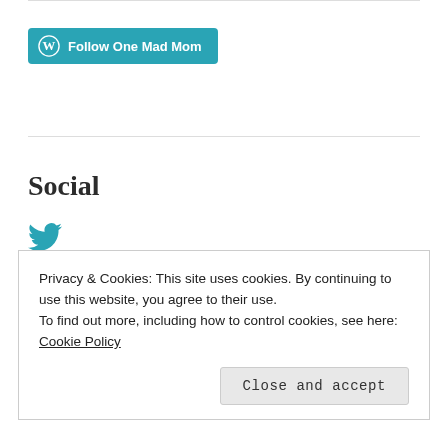[Figure (other): WordPress 'Follow One Mad Mom' button with teal background and WordPress logo icon]
Social
[Figure (other): Twitter bird icon in teal color]
Recommended Links
Privacy & Cookies: This site uses cookies. By continuing to use this website, you agree to their use. To find out more, including how to control cookies, see here: Cookie Policy
Close and accept